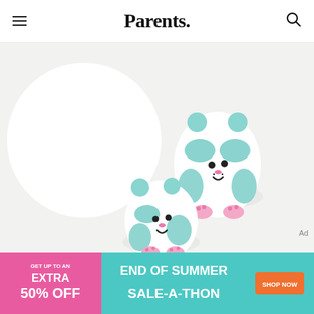Parents.
[Figure (photo): Two white painted eggs decorated as panda/bear characters with teal/mint painted spots, eyes, nose and mouth, and small mint pom-pom ears. Photographed on a white surface.]
Ad
[Figure (infographic): Advertisement banner: pink and teal background reading 'GET UP TO AN EXTRA 50% OFF' on the left, 'END OF SUMMER SALE-A-THON' in large text center, and an orange 'SHOP NOW' button on the right.]